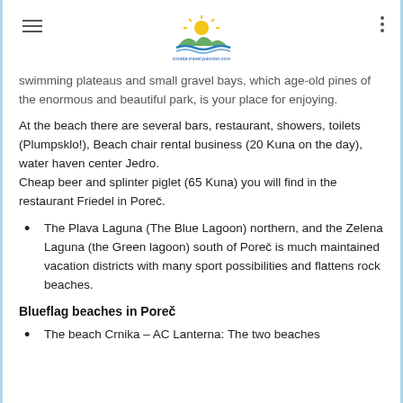croatia-travel-passion.com logo header
swimming plateaus and small gravel bays, which age-old pines of the enormous and beautiful park, is your place for enjoying.
At the beach there are several bars, restaurant, showers, toilets (Plumpsklo!), Beach chair rental business (20 Kuna on the day), water haven center Jedro.
Cheap beer and splinter piglet (65 Kuna) you will find in the restaurant Friedel in Poreč.
The Plava Laguna (The Blue Lagoon) northern, and the Zelena Laguna (the Green lagoon) south of Poreč is much maintained vacation districts with many sport possibilities and flattens rock beaches.
Blueflag beaches in Poreč
The beach Crnika – AC Lanterna: The two beaches